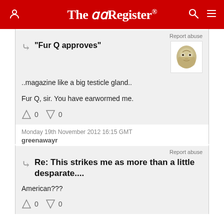The Register
Report abuse
"Fur Q approves"
..magazine like a big testicle gland..

Fur Q, sir. You have earwormed me.
↑0  ↓0
Monday 19th November 2012 16:15 GMT
greenawayr
Report abuse
Re: This strikes me as more than a little desparate....
American???
↑0  ↓0